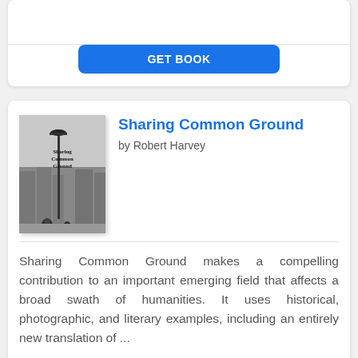[Figure (other): Partial view of top book card with GET BOOK button visible at bottom]
[Figure (photo): Black and white book cover of 'Sharing Common Ground' showing a street lamp and figures in a city scene]
Sharing Common Ground
by Robert Harvey
Sharing Common Ground makes a compelling contribution to an important emerging field that affects a broad swath of humanities. It uses historical, photographic, and literary examples, including an entirely new translation of ...
GET BOOK